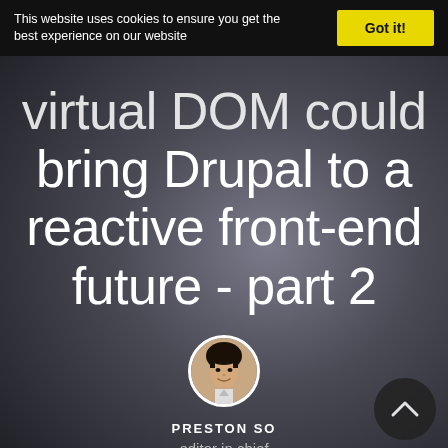This website uses cookies to ensure you get the best experience on our website  Got it!
virtual DOM could bring Drupal to a reactive front-end future - part 2
[Figure (photo): Circular profile photo of author Preston So]
PRESTON SO
editor in chief
April 19, 2020